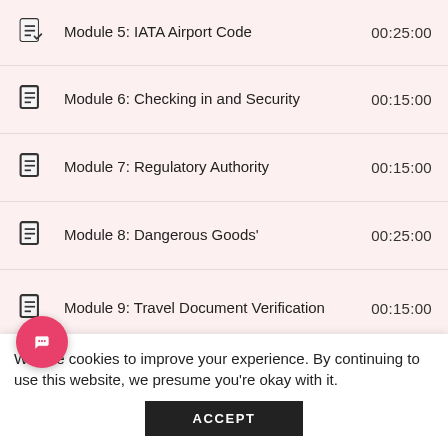Module 5: IATA Airport Code  00:25:00
Module 6: Checking in and Security  00:15:00
Module 7: Regulatory Authority  00:15:00
Module 8: Dangerous Goods'  00:25:00
Module 9: Travel Document Verification  00:15:00
Module 10: Geography  00:25:00
We use cookies to improve your experience. By continuing to use this website, we presume you're okay with it.
ACCEPT